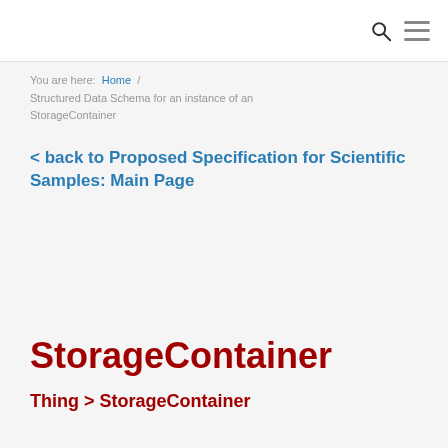You are here:  Home  /  Structured Data Schema for an instance of an StorageContainer
< back to Proposed Specification for Scientific Samples: Main Page
StorageContainer
Thing > StorageContainer